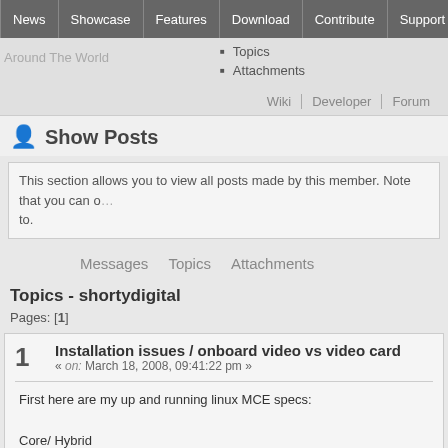News | Showcase | Features | Download | Contribute | Support
Topics
Attachments
Around The World
Wiki | Developer | Forum
Show Posts
This section allows you to view all posts made by this member. Note that you can only see posts made in areas you currently have access to.
Messages   Topics   Attachments
Topics - shortydigital
Pages: [1]
1
Installation issues / onboard video vs video card
« on: March 18, 2008, 09:41:22 pm »
First here are my up and running linux MCE specs:

Core/ Hybrid
Intel Celeron 340 2.93Ghz 533FSB Socket 478
Aopen s661GXm-U Socket 478 Motherboard
3 pci slots, 1 agp